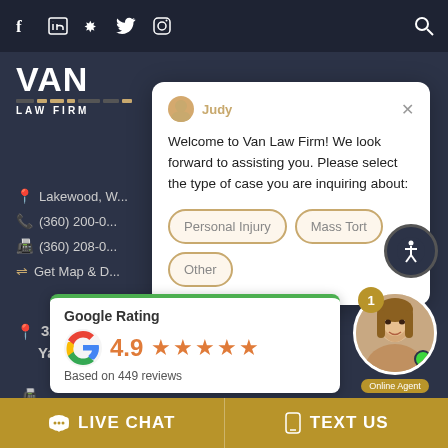[Figure (screenshot): Top navigation bar with social media icons: Facebook, LinkedIn, Yelp, Twitter, Instagram, and a search icon on the right]
[Figure (logo): Van Law Firm logo with striped bar and text]
Lakewood, W...
(360) 200-0...
(360) 208-0...
Get Map & D...
[Figure (screenshot): Chat popup from Judy welcoming visitors to Van Law Firm with options: Personal Injury, Mass Tort, Other]
Judy
Welcome to Van Law Firm! We look forward to assisting you. Please select the type of case you are inquiring about:
Personal Injury
Mass Tort
Other
32 N 3rd St STE 304
Yakima, WA 98901
[Figure (screenshot): Google Rating widget showing 4.9 stars based on 449 reviews]
Google Rating
4.9
Based on 449 reviews
[Figure (photo): Online Agent photo of a woman with brown hair, smiling, with a green online indicator dot and notification badge showing 1]
Online Agent
LIVE CHAT
TEXT US